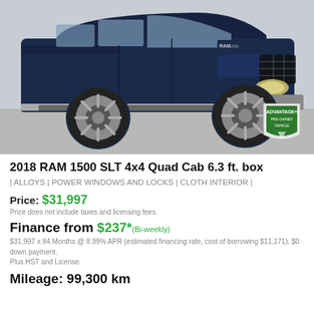[Figure (photo): Blue 2018 RAM 1500 SLT pickup truck parked in a lot, front three-quarter view. Advantage+ Pre-Owned Vehicle badge in bottom right corner.]
2018 RAM 1500 SLT 4x4 Quad Cab 6.3 ft. box
| ALLOYS | POWER WINDOWS AND LOCKS | CLOTH INTERIOR |
Price: $31,997
Price does not include taxes and licensing fees.
Finance from $237* (Bi-weekly)
$31,997 x 84 Months @ 8.99% APR (estimated financing rate, cost of borrowing $11,171). $0 down payment.
Plus HST and License.
Mileage: 99,300 km